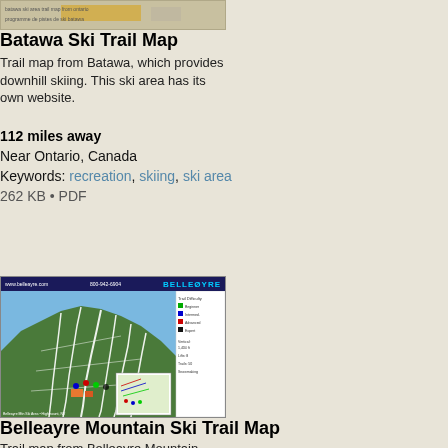[Figure (map): Thumbnail image of Batawa Ski Trail Map showing a ski trail map with orange/gold colored mountain illustration]
Batawa Ski Trail Map
Trail map from Batawa, which provides downhill skiing. This ski area has its own website.
112 miles away
Near Ontario, Canada
Keywords: recreation, skiing, ski area
262 KB • PDF
[Figure (map): Belleayre Mountain Ski Trail Map showing an aerial/illustrated view of ski trails on green mountain with trail legend panel on right, header shows www.belleayre.com and 800-942-6904]
Belleayre Mountain Ski Trail Map
Trail map from Belleayre Mountain